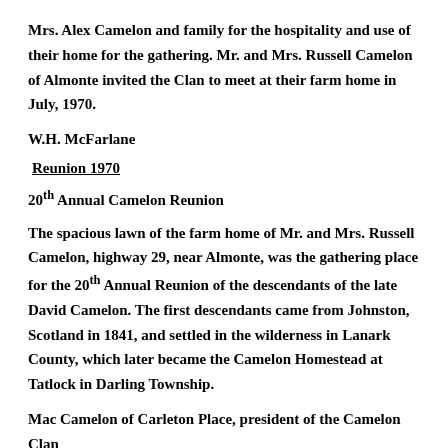Mrs. Alex Camelon and family for the hospitality and use of their home for the gathering. Mr. and Mrs. Russell Camelon of Almonte invited the Clan to meet at their farm home in July, 1970.
W.H. McFarlane
Reunion 1970
20th Annual Camelon Reunion
The spacious lawn of the farm home of Mr. and Mrs. Russell Camelon, highway 29, near Almonte, was the gathering place for the 20th Annual Reunion of the descendants of the late David Camelon. The first descendants came from Johnston, Scotland in 1841, and settled in the wilderness in Lanark County, which later became the Camelon Homestead at Tatlock in Darling Township.
Mac Camelon of Carleton Place, president of the Camelon Clan